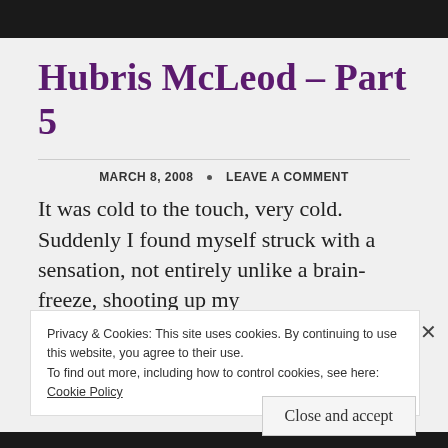Hubris McLeod – Part 5
MARCH 8, 2008 · LEAVE A COMMENT
It was cold to the touch, very cold. Suddenly I found myself struck with a sensation, not entirely unlike a brain-freeze, shooting up my
Privacy & Cookies: This site uses cookies. By continuing to use this website, you agree to their use.
To find out more, including how to control cookies, see here: Cookie Policy
Close and accept